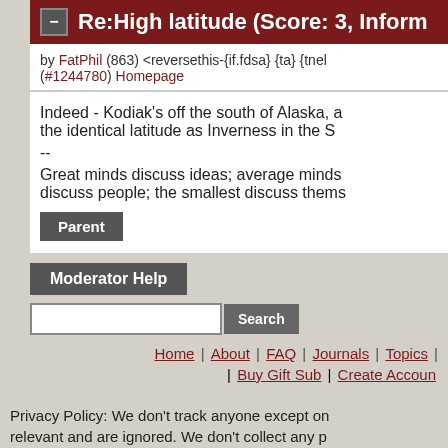Re:High latitude (Score: 3, Inform
by FatPhil (863) <reversethis-{if.fdsa} {ta} {tnely (#1244780) Homepage
Indeed - Kodiak's off the south of Alaska, a the identical latitude as Inverness in the S --
Great minds discuss ideas; average minds discuss people; the smallest discuss thems
Parent
Moderator Help
Search
Home | About | FAQ | Journals | Topics | | Buy Gift Sub | Create Accoun
Privacy Policy: We don't track anyone except on relevant and are ignored. We don't collect any p you except your email address, which: you can c in the first place, is only used to contact you if n with nobody.